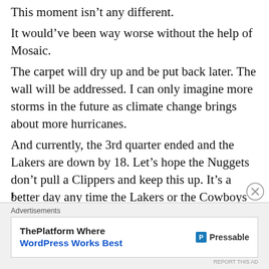This moment isn't any different. It would've been way worse without the help of Mosaic. The carpet will dry up and be put back later. The wall will be addressed. I can only imagine more storms in the future as climate change brings about more hurricanes. And currently, the 3rd quarter ended and the Lakers are down by 18. Let's hope the Nuggets don't pull a Clippers and keep this up. It's a better day any time the Lakers or the Cowboys
1
Advertisements
[Figure (other): Advertisement banner: ThePlatform Where WordPress Works Best — Pressable]